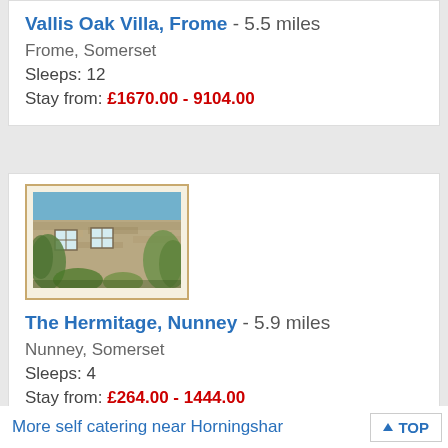Vallis Oak Villa, Frome - 5.5 miles
Frome, Somerset
Sleeps: 12
Stay from: £1670.00 - 9104.00
[Figure (photo): Exterior photo of The Hermitage, Nunney - a stone cottage building with windows and vegetation]
The Hermitage, Nunney - 5.9 miles
Nunney, Somerset
Sleeps: 4
Stay from: £264.00 - 1444.00
More self catering near Horningsham